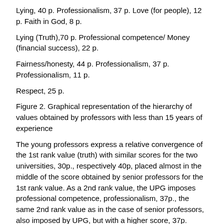Lying, 40 p. Professionalism, 37 p. Love (for people), 12 p. Faith in God, 8 p.
Lying (Truth),70 p. Professional competence/ Money (financial success), 22 p.
Fairness/honesty, 44 p. Professionalism, 37 p. Professionalism, 11 p.
Respect, 25 p.
Figure 2. Graphical representation of the hierarchy of values obtained by professors with less than 15 years of experience
The young professors express a relative convergence of the 1st rank value (truth) with similar scores for the two universities, 30p., respectively 40p, placed almost in the middle of the score obtained by senior professors for the 1st rank value. As a 2nd rank value, the UPG imposes professional competence, professionalism, 37p., the same 2nd rank value as in the case of senior professors, also imposed by UPG, but with a higher score, 37p. compared to 29p. For the 3rd rank, the value of financial success, money, is